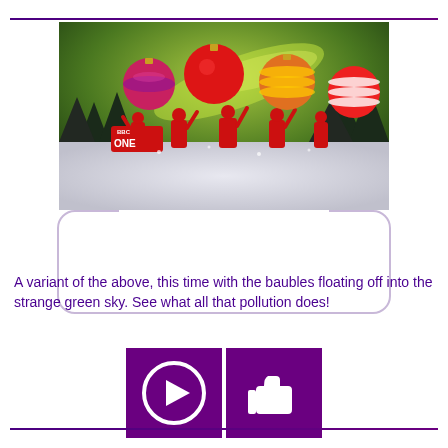[Figure (screenshot): BBC One Christmas ident showing people in red holding up large decorative baubles (red, orange-striped, red-and-white-striped) against a green sky with snow-covered trees and a BBC ONE logo sign]
A variant of the above, this time with the baubles floating off into the strange green sky. See what all that pollution does!
[Figure (infographic): Two purple buttons side by side: a play button (circle with triangle) and a thumbs-up button]